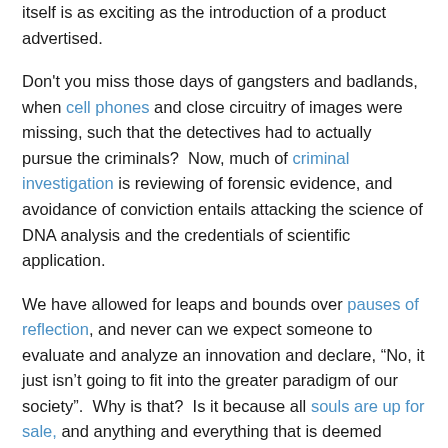itself is as exciting as the introduction of a product advertised.
Don't you miss those days of gangsters and badlands, when cell phones and close circuitry of images were missing, such that the detectives had to actually pursue the criminals?  Now, much of criminal investigation is reviewing of forensic evidence, and avoidance of conviction entails attacking the science of DNA analysis and the credentials of scientific application.
We have allowed for leaps and bounds over pauses of reflection, and never can we expect someone to evaluate and analyze an innovation and declare, "No, it just isn't going to fit into the greater paradigm of our society".  Why is that?  Is it because all souls are up for sale, and anything and everything that is deemed "new" becomes by